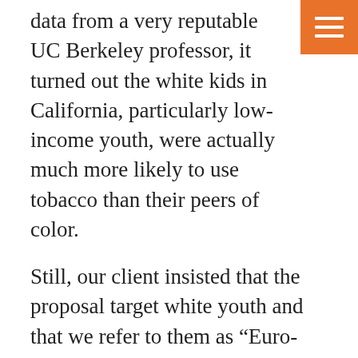data from a very reputable UC Berkeley professor, it turned out the white kids in California, particularly low-income youth, were actually much more likely to use tobacco than their peers of color.
Still, our client insisted that the proposal target white youth and that we refer to them as “Euro-American” youth. Since we’re just hired guns or Paladins, we tend to do as our clients request, even though we advised our client that the proposal was going to be torn apart by reviewers (which it was).